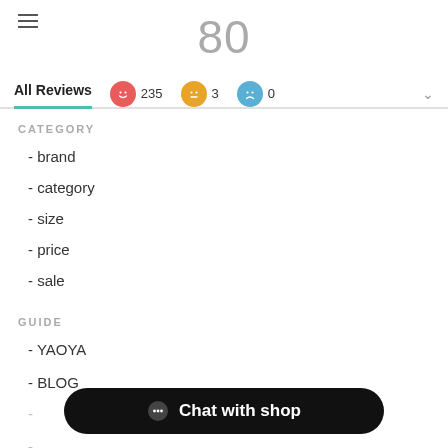80
All Reviews  😊 235  😐 3  😢 0
CATEGORY
- brand
- category
- size
- price
- sale
GUIDE
- YAOYA
- BLOG
-
-
-
Chat with shop